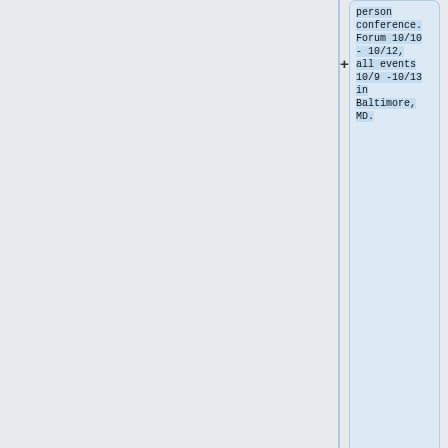person conference. Forum 10/10 - 10/12, all events 10/9 -10/13 in Baltimore, MD.
* COVID-19 resources and health concerns
** Does the venue require masks or vaccinations